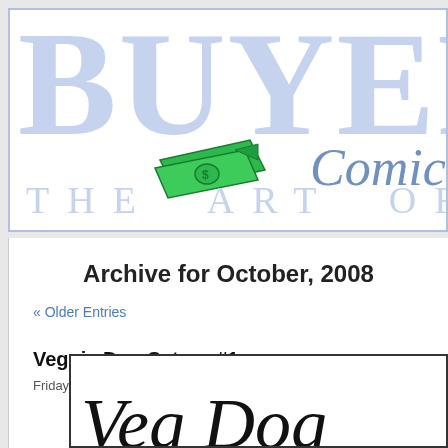[Figure (logo): Website header banner with large light blue text 'BUYERBE' (partially visible), a green money/cash illustration, cursive 'Comics' text in blue, and 'THE ART OF JA' in light blue spaced letters at the bottom. Blue border around banner.]
Archive for October, 2008
« Older Entries
Veggie Dog Saturn #1
Friday, October 31st, 2008
[Figure (illustration): Partial view of a comic panel with a black border, showing decorative blackletter/Gothic script text at the bottom, partially cut off.]